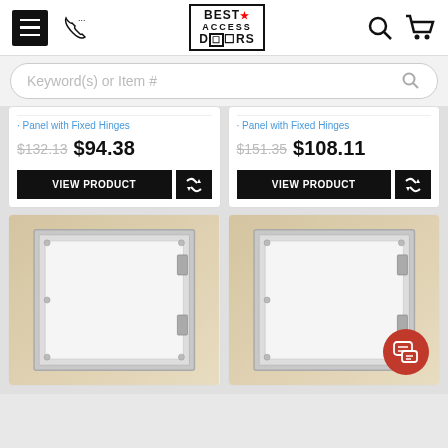Best Access Doors - navigation header with hamburger menu, phone, logo, search, cart icons
Keyword(s) or Item #
Panel with Fixed Hinges  $132.13  $94.38
Panel with Fixed Hinges  $151.35  $108.11
[Figure (photo): Access panel with aluminum frame and white door, screws visible, fixed hinges, product photo on white/beige background]
[Figure (photo): Access panel with aluminum frame and white door, screws visible, fixed hinges, product photo on white/beige background]